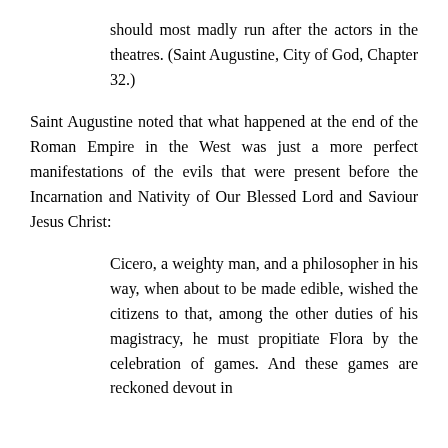should most madly run after the actors in the theatres. (Saint Augustine, City of God, Chapter 32.)
Saint Augustine noted that what happened at the end of the Roman Empire in the West was just a more perfect manifestations of the evils that were present before the Incarnation and Nativity of Our Blessed Lord and Saviour Jesus Christ:
Cicero, a weighty man, and a philosopher in his way, when about to be made edible, wished the citizens to that, among the other duties of his magistracy, he must propitiate Flora by the celebration of games. And these games are reckoned devout in